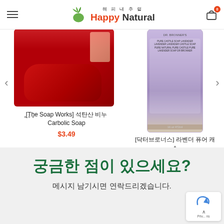해피 내추럴 Happy Natural
[Figure (photo): Product image of The Soap Works Carbolic Soap bar (red soap bar)]
[The Soap Works] 석탄산 비누 Carbolic Soap
$3.49
[Figure (photo): Product image of Dr. Bronner's Pure Castile Soap Lavender 16 oz 472ml (purple bottle)]
[닥터브로너스] 라벤더 퓨어 캐스틸 솜 Dr. Bronner's Pure Castile Soap Lavender 16 oz 472ml
$15.99
궁금한 점이 있으세요?
메시지 남기시면 연락드리겠습니다.